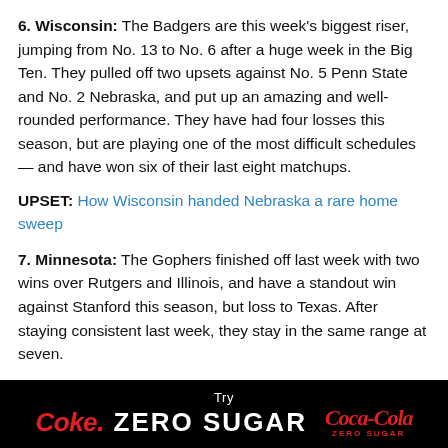6. Wisconsin: The Badgers are this week's biggest riser, jumping from No. 13 to No. 6 after a huge week in the Big Ten. They pulled off two upsets against No. 5 Penn State and No. 2 Nebraska, and put up an amazing and well-rounded performance. They have had four losses this season, but are playing one of the most difficult schedules — and have won six of their last eight matchups.
UPSET: How Wisconsin handed Nebraska a rare home sweep
7. Minnesota: The Gophers finished off last week with two wins over Rutgers and Illinois, and have a standout win against Stanford this season, but loss to Texas. After staying consistent last week, they stay in the same range at seven.
8. Penn State: The Nittany Lions take a fall in the rankings to
[Figure (other): Coca-Cola Coke Zero Sugar advertisement banner, black background with red and white text: Try Coke. ZERO SUGAR with Coca-Cola Zero Sugar logo]